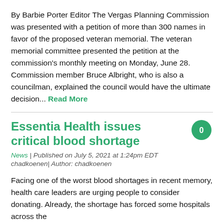By Barbie Porter Editor The Vergas Planning Commission was presented with a petition of more than 300 names in favor of the proposed veteran memorial. The veteran memorial committee presented the petition at the commission's monthly meeting on Monday, June 28. Commission member Bruce Albright, who is also a councilman, explained the council would have the ultimate decision... Read More
Essentia Health issues critical blood shortage
News | Published on July 5, 2021 at 1:24pm EDT
chadkoenen| Author: chadkoenen
Facing one of the worst blood shortages in recent memory, health care leaders are urging people to consider donating. Already, the shortage has forced some hospitals across the